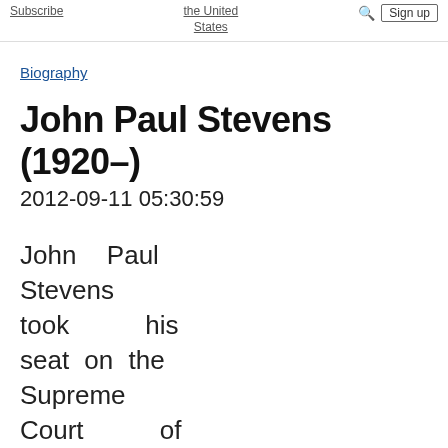Subscribe | the United States | Sign up
Biography
John Paul Stevens (1920–)
2012-09-11 05:30:59
John Paul Stevens took his seat on the Supreme Court of the United States on December